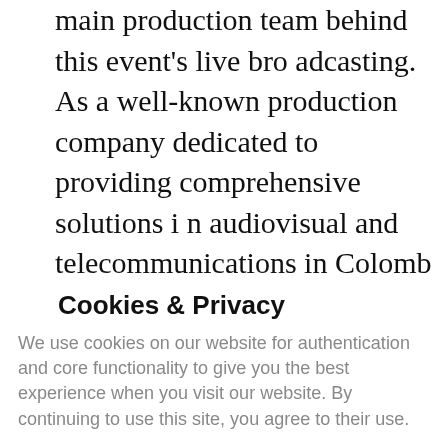main production team behind this event's live broadcasting. As a well-known production company dedicated to providing comprehensive solutions in audiovisual and telecommunications in Colombia, the CG PRODUCCIONES crew promised to deliver their broadcasting performance with precision and quality. After testing Hollyland's Solidcom M1 system, the team decided to use this versatile intercom solution in carrying out their mission in this large-scale football game.
Cookies & Privacy
We use cookies on our website for authentication and core functionality to give you the best experience when you visit our website. By continuing to use this site, you agree to their use.